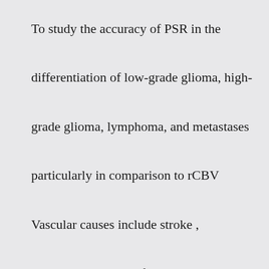To study the accuracy of PSR in the differentiation of low-grade glioma, high-grade glioma, lymphoma, and metastases particularly in comparison to rCBV Vascular causes include stroke , hemorrhage, a-v malformations, demyelination from ms, lymes disease, infectious causes, hiv, abscess Browse Forums; dke-questions; dke-questions =intravenous Resolve 04min